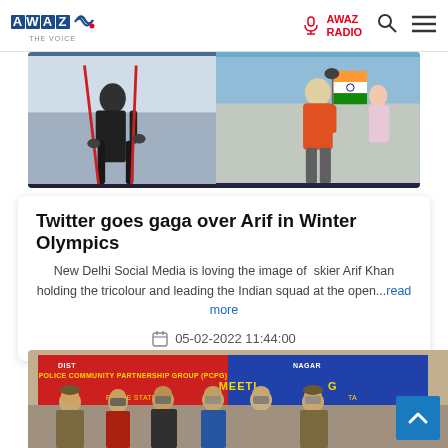AWAZ THE VOICE — AWAZ RADIO
[Figure (photo): Two skiers with ski poles holding Indian tricolour, Winter Olympics scene, two-panel image]
Twitter goes gaga over Arif in Winter Olympics
New Delhi Social Media is loving the image of skier Arif Khan holding the tricolour and leading the Indian squad at the open...read more
05-02-2022 11:44:00
[Figure (photo): Police officers with arrested suspects standing in front of Police Community Partnership Group (PCPG) banner at a police station in Srinagar]